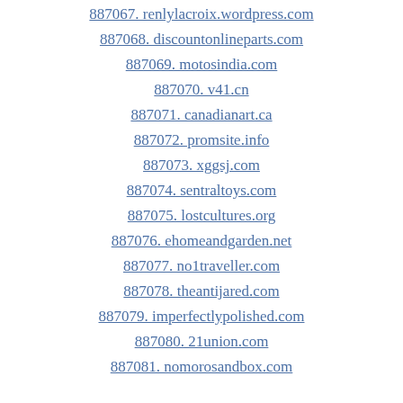887067. renlylacroix.wordpress.com
887068. discountonlineparts.com
887069. motosindia.com
887070. v41.cn
887071. canadianart.ca
887072. promsite.info
887073. xggsj.com
887074. sentraltoys.com
887075. lostcultures.org
887076. ehomeandgarden.net
887077. no1traveller.com
887078. theantijared.com
887079. imperfectlypolished.com
887080. 21union.com
887081. nomorosandbox.com